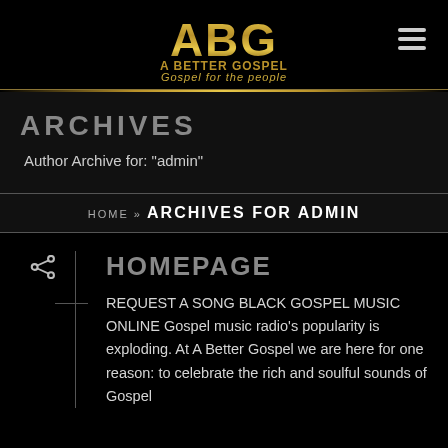[Figure (logo): ABG - A Better Gospel logo with gold gradient lettering and tagline 'Gospel for the people']
ARCHIVES
Author Archive for: "admin"
HOME » ARCHIVES FOR ADMIN
HOMEPAGE
REQUEST A SONG BLACK GOSPEL MUSIC ONLINE Gospel music radio's popularity is exploding. At A Better Gospel we are here for one reason: to celebrate the rich and soulful sounds of Gospel